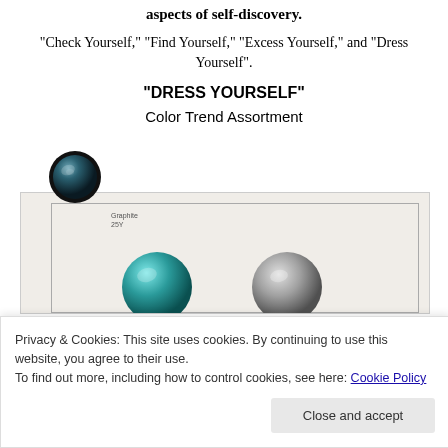aspects of self-discovery.
“Check Yourself,” “Find Yourself,” “Excess Yourself,” and “Dress Yourself”.
“DRESS YOURSELF”
Color Trend Assortment
[Figure (photo): A color trend assortment display showing decorative gem/bead spheres including a dark graphite gem at top left, a teal sphere and a silver/gray sphere visible in the bottom portion. A label reads 'Graphite 25Y'. The image is a product catalog or design reference photo.]
Privacy & Cookies: This site uses cookies. By continuing to use this website, you agree to their use.
To find out more, including how to control cookies, see here: Cookie Policy